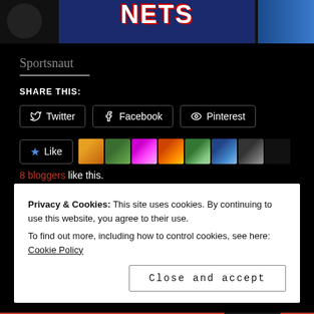[Figure (photo): Basketball player wearing a Nets jersey, dark background with partial view of jersey text]
Sportsnaut
SHARE THIS:
Twitter Facebook Pinterest
Like  8 bloggers like this.
Privacy & Cookies: This site uses cookies. By continuing to use this website, you agree to their use. To find out more, including how to control cookies, see here: Cookie Policy
Close and accept